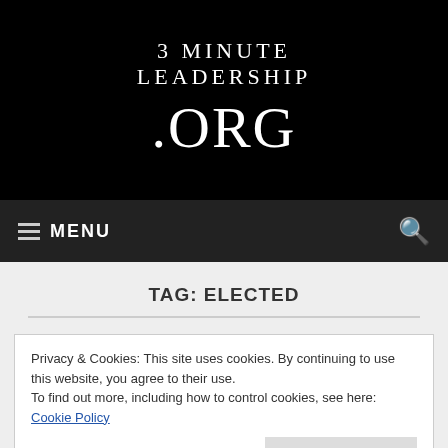[Figure (logo): 3 Minute Leadership .ORG logo on black background]
≡ MENU
TAG: ELECTED
Privacy & Cookies: This site uses cookies. By continuing to use this website, you agree to their use.
To find out more, including how to control cookies, see here: Cookie Policy
Close and accept